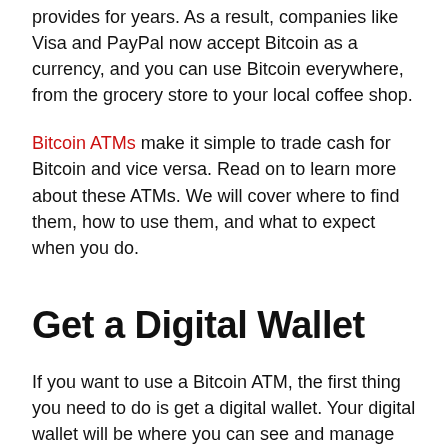provides for years. As a result, companies like Visa and PayPal now accept Bitcoin as a currency, and you can use Bitcoin everywhere, from the grocery store to your local coffee shop.
Bitcoin ATMs make it simple to trade cash for Bitcoin and vice versa. Read on to learn more about these ATMs. We will cover where to find them, how to use them, and what to expect when you do.
Get a Digital Wallet
If you want to use a Bitcoin ATM, the first thing you need to do is get a digital wallet. Your digital wallet will be where you can see and manage your cryptocurrency funds. It will also allow you to